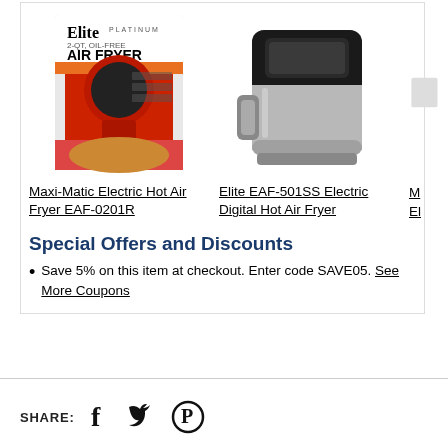[Figure (photo): Red Elite Platinum Air Fryer product box image (Maxi-Matic EAF-0201R)]
[Figure (photo): Silver/black Elite EAF-501SS Electric Digital Hot Air Fryer product image]
[Figure (photo): Partially visible third product (cropped at right edge)]
Maxi-Matic Electric Hot Air Fryer EAF-0201R
Elite EAF-501SS Electric Digital Hot Air Fryer
M... El... (partially visible)
Special Offers and Discounts
Save 5% on this item at checkout. Enter code SAVE05. See More Coupons
SHARE: